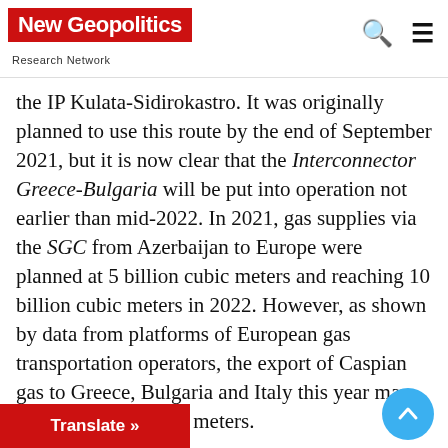New Geopolitics Research Network
the IP Kulata-Sidirokastro. It was originally planned to use this route by the end of September 2021, but it is now clear that the Interconnector Greece-Bulgaria will be put into operation not earlier than mid-2022. In 2021, gas supplies via the SGC from Azerbaijan to Europe were planned at 5 billion cubic meters and reaching 10 billion cubic meters in 2022. However, as shown by data from platforms of European gas transportation operators, the export of Caspian gas to Greece, Bulgaria and Italy this year may reach 9 billion cubic meters.
Such growth is explained by the fact that the Turkish state-owned company Botas did not sign a long-term contract for the annual